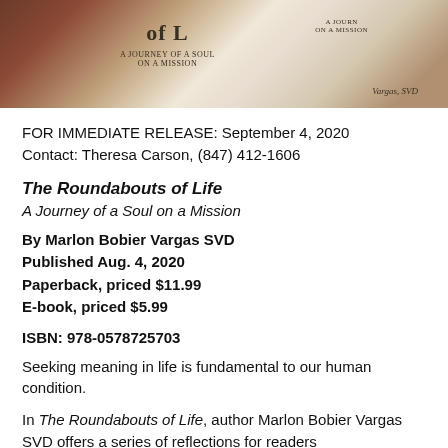[Figure (photo): Photo of book covers for 'The Roundabouts of Life: A Journey of a Soul on a Mission' by Vargas SVD, showing two copies of the book open]
FOR IMMEDIATE RELEASE: September 4, 2020
Contact: Theresa Carson, (847) 412-1606
The Roundabouts of Life
A Journey of a Soul on a Mission
By Marlon Bobier Vargas SVD
Published Aug. 4, 2020
Paperback, priced $11.99
E-book, priced $5.99
ISBN: 978-0578725703
Seeking meaning in life is fundamental to our human condition.
In The Roundabouts of Life, author Marlon Bobier Vargas SVD offers a series of reflections for readers